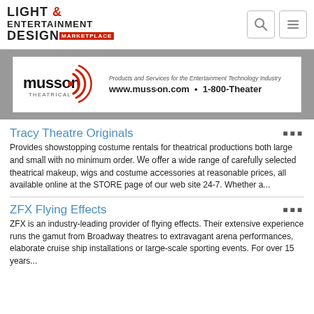LIGHT & ENTERTAINMENT DESIGN MARKETPLACE
[Figure (other): Musson Theatrical advertisement banner: logo with concentric arcs, text 'Products and Services for the Entertainment Technology Industry', 'www.musson.com • 1-800-Theater']
Tracy Theatre Originals
Provides showstopping costume rentals for theatrical productions both large and small with no minimum order. We offer a wide range of carefully selected theatrical makeup, wigs and costume accessories at reasonable prices, all available online at the STORE page of our web site 24-7. Whether a...
ZFX Flying Effects
ZFX is an industry-leading provider of flying effects. Their extensive experience runs the gamut from Broadway theatres to extravagant arena performances, elaborate cruise ship installations or large-scale sporting events. For over 15 years...